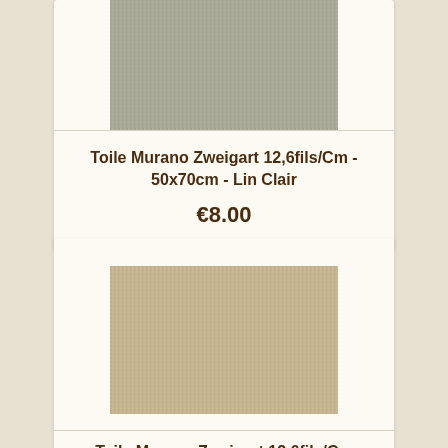[Figure (photo): Close-up photo of Murano Zweigart light linen embroidery fabric with fine grid texture, cool grey-beige color]
Toile Murano Zweigart 12,6fils/Cm - 50x70cm - Lin Clair
€8.00
[Figure (photo): Close-up photo of Murano Zweigart linen embroidery fabric with fine grid texture, warm beige-tan color]
Toile Murano Zweigart 12,6fils/Cm